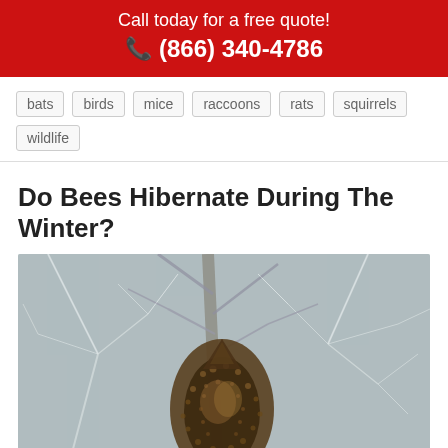Call today for a free quote! (866) 340-4786
bats
birds
mice
raccoons
rats
squirrels
wildlife
Do Bees Hibernate During The Winter?
[Figure (photo): A large bee swarm clustered together on bare winter tree branches covered in frost or snow]